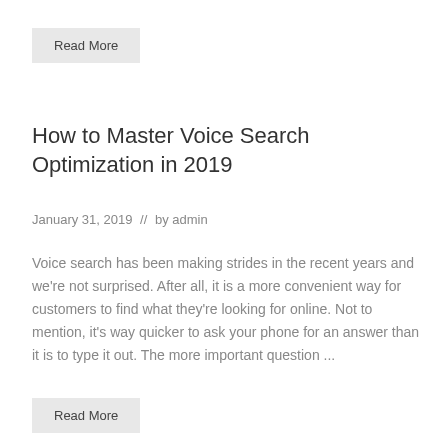Read More
How to Master Voice Search Optimization in 2019
January 31, 2019  //  by admin
Voice search has been making strides in the recent years and we're not surprised. After all, it is a more convenient way for customers to find what they're looking for online. Not to mention, it's way quicker to ask your phone for an answer than it is to type it out. The more important question ...
Read More